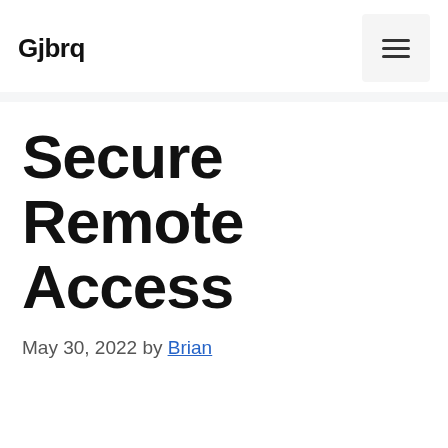Gjbrq
Secure Remote Access
May 30, 2022 by Brian